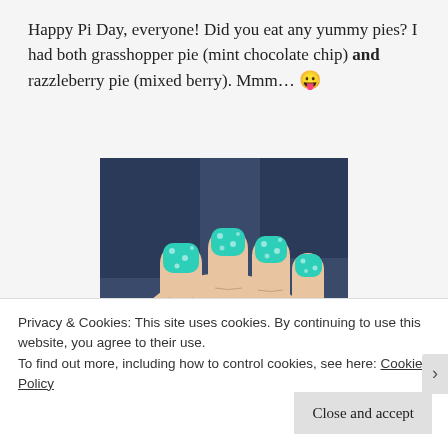Happy Pi Day, everyone! Did you eat any yummy pies? I had both grasshopper pie (mint chocolate chip) and razzleberry pie (mixed berry). Mmm… 😛
[Figure (photo): Close-up photo of a hand with teal/turquoise polka-dot nail art, held against a dark blue background.]
Privacy & Cookies: This site uses cookies. By continuing to use this website, you agree to their use.
To find out more, including how to control cookies, see here: Cookie Policy
Close and accept